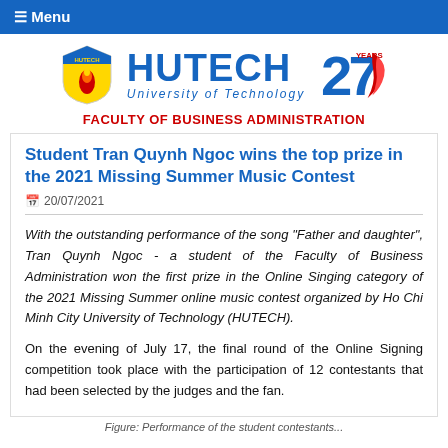☰ Menu
[Figure (logo): HUTECH University of Technology logo with shield emblem and 27 years anniversary mark]
FACULTY OF BUSINESS ADMINISTRATION
Student Tran Quynh Ngoc wins the top prize in the 2021 Missing Summer Music Contest
📅 20/07/2021
With the outstanding performance of the song "Father and daughter", Tran Quynh Ngoc - a student of the Faculty of Business Administration won the first prize in the Online Singing category of the 2021 Missing Summer online music contest organized by Ho Chi Minh City University of Technology (HUTECH).
On the evening of July 17, the final round of the Online Signing competition took place with the participation of 12 contestants that had been selected by the judges and the fan.
Figure: Performance of the student contestants...